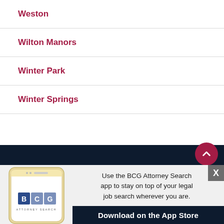Weston
Wilton Manors
Winter Park
Winter Springs
[Figure (screenshot): BCG Attorney Search mobile app advertisement banner showing a smartphone with BCG logo and text: Use the BCG Attorney Search app to stay on top of your legal job search wherever you are. Download on the App Store.]